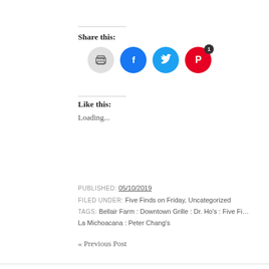Share this:
[Figure (infographic): Social sharing icons: print (gray circle), Facebook (blue circle with f logo), Twitter (blue circle with bird logo), Pinterest (red circle with P logo and badge showing '1')]
Like this:
Loading...
PUBLISHED: 05/10/2019
FILED UNDER: Five Finds on Friday, Uncategorized
TAGS: Bellair Farm : Downtown Grille : Dr. Ho's : Five Fi... La Michoacana : Peter Chang's
« Previous Post